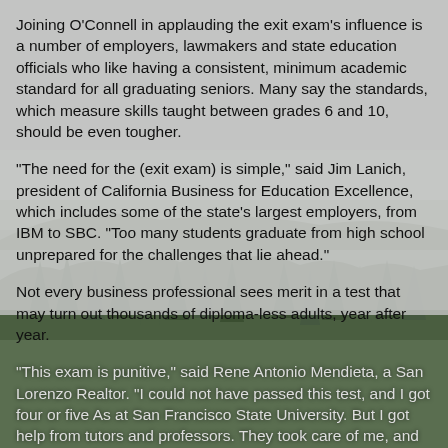[Figure (photo): Blurred outdoor landscape photo showing misty mountains, evergreen trees (conifers), and a gray overcast sky with foggy conditions, serving as background for text overlay.]
Joining O'Connell in applauding the exit exam's influence is a number of employers, lawmakers and state education officials who like having a consistent, minimum academic standard for all graduating seniors. Many say the standards, which measure skills taught between grades 6 and 10, should be even tougher.
"The need for the (exit exam) is simple," said Jim Lanich, president of California Business for Education Excellence, which includes some of the state's largest employers, from IBM to SBC. "Too many students graduate from high school unprepared for the challenges that lie ahead."
Not every business professional sees merit in a test that may turn out thousands of diploma-less adults, year after year.
"This exam is punitive," said Rene Antonio Mendieta, a San Lorenzo Realtor. "I could not have passed this test, and I got four or five As at San Francisco State University. But I got help from tutors and professors. They took care of me, and now I'm giving back to the community."